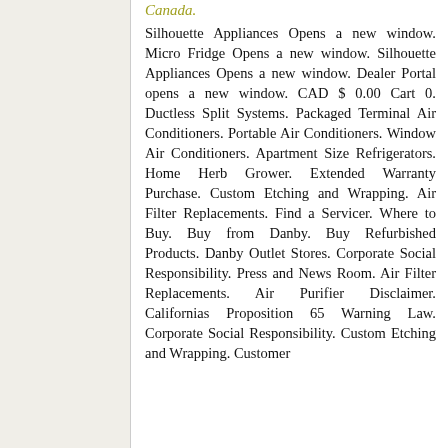Canada.
Silhouette Appliances Opens a new window. Micro Fridge Opens a new window. Silhouette Appliances Opens a new window. Dealer Portal opens a new window. CAD $ 0.00 Cart 0. Ductless Split Systems. Packaged Terminal Air Conditioners. Portable Air Conditioners. Window Air Conditioners. Apartment Size Refrigerators. Home Herb Grower. Extended Warranty Purchase. Custom Etching and Wrapping. Air Filter Replacements. Find a Servicer. Where to Buy. Buy from Danby. Buy Refurbished Products. Danby Outlet Stores. Corporate Social Responsibility. Press and News Room. Air Filter Replacements. Air Purifier Disclaimer. Californias Proposition 65 Warning Law. Corporate Social Responsibility. Custom Etching and Wrapping. Customer